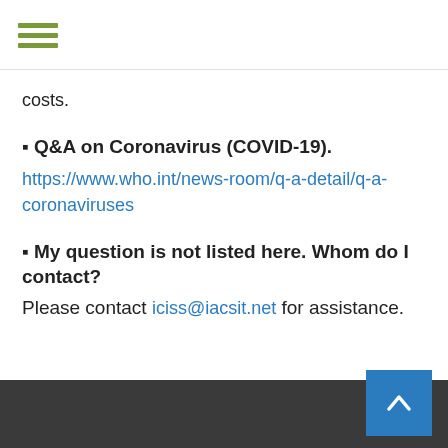☰ (hamburger menu icon)
costs.
▪ Q&A on Coronavirus (COVID-19). https://www.who.int/news-room/q-a-detail/q-a-coronaviruses
▪ My question is not listed here. Whom do I contact? Please contact iciss@iacsit.net for assistance.